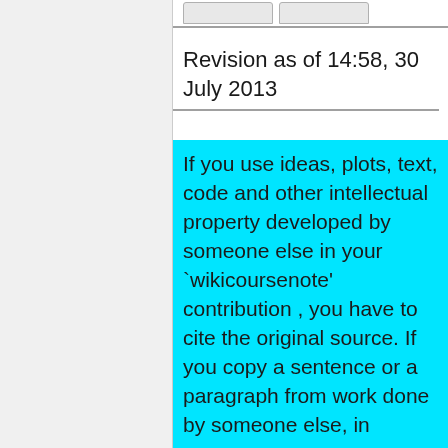Revision as of 14:58, 30 July 2013
If you use ideas, plots, text, code and other intellectual property developed by someone else in your `wikicoursenote' contribution , you have to cite the original source. If you copy a sentence or a paragraph from work done by someone else, in